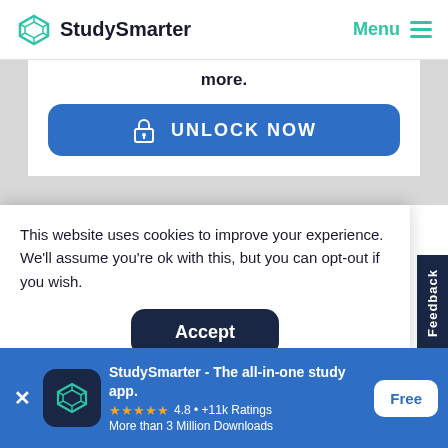StudySmarter  Menu
more.
[Figure (screenshot): Blue UNLOCK NOW button with padlock icon]
This website uses cookies to improve your experience. We'll assume you're ok with this, but you can opt-out if you wish.
[Figure (screenshot): Accept button (dark navy rounded rectangle)]
involves a hydrolysis reaction. This is how
[Figure (screenshot): App banner: StudySmarter - The all-in-one study app. 4.8 +11k Ratings. More than 3 Million Downloads. Free button.]